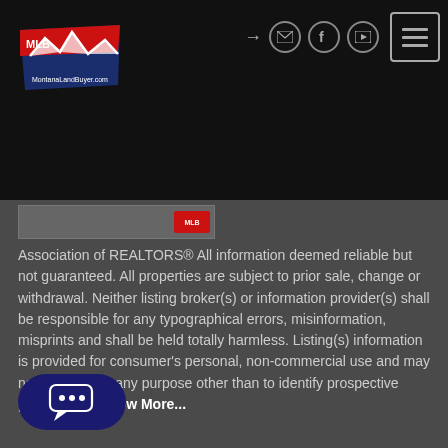[Figure (logo): MontanaLandBuyer.com logo with red and blue Montana state shape, mountains, and MLB text]
[Figure (screenshot): Top navigation bar with social icons (login arrow, email, Facebook, YouTube) and hamburger menu button on black background]
[Figure (screenshot): Thumbnail image strip with MLB badge]
Association of REALTORS® All information deemed reliable but not guaranteed. All properties are subject to prior sale, change or withdrawal. Neither listing broker(s) or information provider(s) shall be responsible for any typographical errors, misinformation, misprints and shall be held totally harmless. Listing(s) information is provided for consumer's personal, non-commercial use and may not be used for any purpose other than to identify prospective properties    Show More...